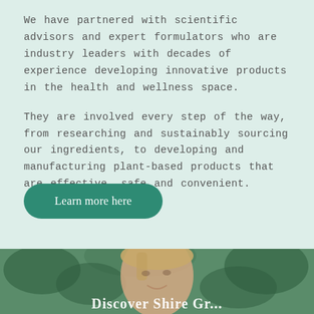We have partnered with scientific advisors and expert formulators who are industry leaders with decades of experience developing innovative products in the health and wellness space.
They are involved every step of the way, from researching and sustainably sourcing our ingredients, to developing and manufacturing plant-based products that are effective, safe and convenient.
Learn more here
[Figure (photo): Photo of a smiling woman with blonde hair pulled back, outdoors among green foliage, with partial text 'Discover Shire Gr...' overlaid at the bottom in white bold serif font]